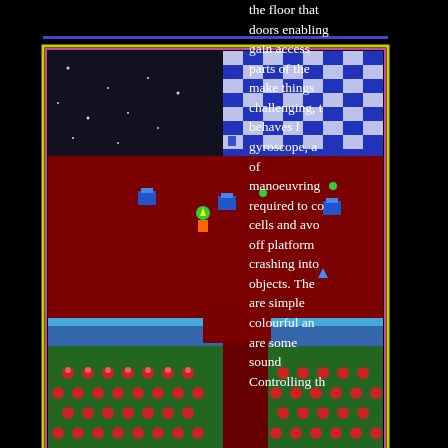[Figure (screenshot): Retro isometric video game screenshot showing a colorful game level with a dark starfield area, blue and white checkered pattern, red diamond-patterned floor, green areas with red mushroom-like objects, blue walls, and small character/item sprites. Score display shows SCORE-000100 and CLAVIER text in red monospace font, with a small white rectangle and two mushroom-like sprites at the bottom.]
the floor that doors enabling gain access parts of the make things challenging, t behaves l gyroscope, a of manoeuvring required to co cells and avo off platform crashing into objects. The are simple colourful an are some sound Controlling th